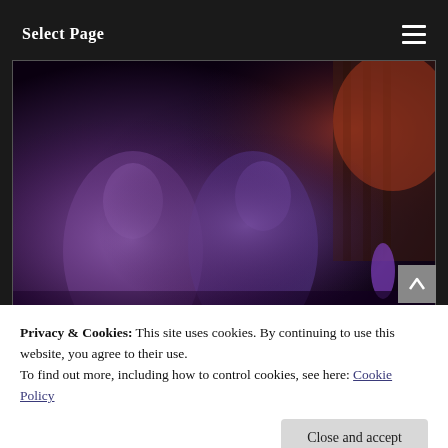Select Page
[Figure (illustration): 3D rendered fantasy scene with purple-skinned elf-like characters in a dark indoor setting]
Privacy & Cookies: This site uses cookies. By continuing to use this website, you agree to their use.
To find out more, including how to control cookies, see here: Cookie Policy
Close and accept